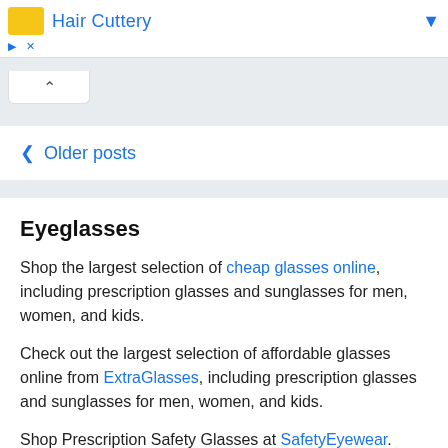[Figure (screenshot): Advertisement banner for Hair Cuttery with yellow logo icon, blue title text, and blue dropdown arrow]
< Older posts
Eyeglasses
Shop the largest selection of cheap glasses online, including prescription glasses and sunglasses for men, women, and kids.
Check out the largest selection of affordable glasses online from ExtraGlasses, including prescription glasses and sunglasses for men, women, and kids.
Shop Prescription Safety Glasses at SafetyEyewear. Price Match Guarantee, Free Shipping, and the largest selection of Prescription Safety Glasses online.